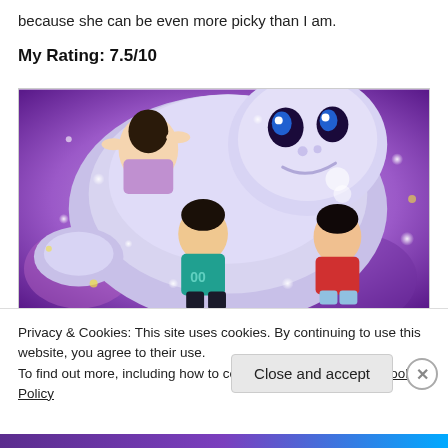because she can be even more picky than I am.
My Rating: 7.5/10
[Figure (illustration): Animated movie still showing a large white fluffy yeti creature with three children characters leaning against it, surrounded by glowing lights and purple floral background — from the animated film Abominable.]
Privacy & Cookies: This site uses cookies. By continuing to use this website, you agree to their use.
To find out more, including how to control cookies, see here: Cookie Policy